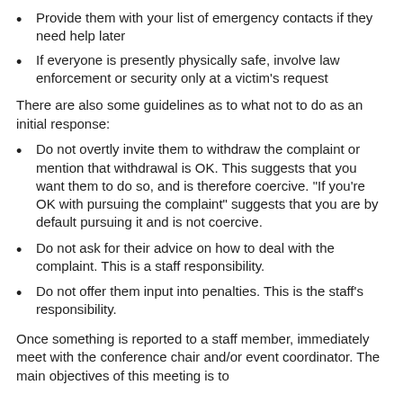Provide them with your list of emergency contacts if they need help later
If everyone is presently physically safe, involve law enforcement or security only at a victim's request
There are also some guidelines as to what not to do as an initial response:
Do not overtly invite them to withdraw the complaint or mention that withdrawal is OK. This suggests that you want them to do so, and is therefore coercive. "If you're OK with pursuing the complaint" suggests that you are by default pursuing it and is not coercive.
Do not ask for their advice on how to deal with the complaint. This is a staff responsibility.
Do not offer them input into penalties. This is the staff's responsibility.
Once something is reported to a staff member, immediately meet with the conference chair and/or event coordinator. The main objectives of this meeting is to